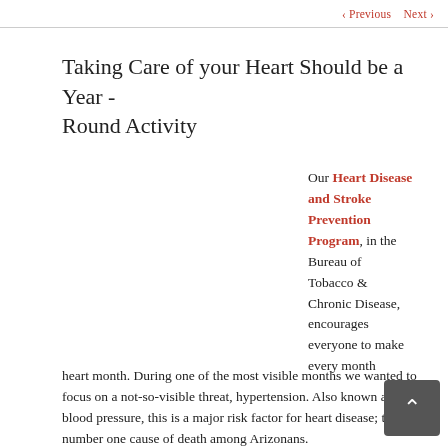‹ Previous   Next ›
Taking Care of your Heart Should be a Year - Round Activity
Our Heart Disease and Stroke Prevention Program, in the Bureau of Tobacco & Chronic Disease, encourages everyone to make every month heart month. During one of the most visible months we wanted to focus on a not-so-visible threat, hypertension. Also known as high blood pressure, this is a major risk factor for heart disease; the number one cause of death among Arizonans.